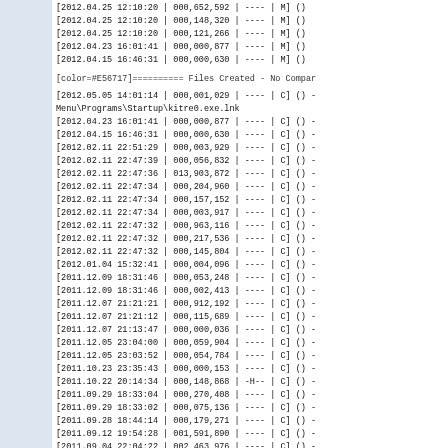[2012.04.25 12:10:20 | 000,652,592 | ---- | M] ()
[2012.04.25 12:10:20 | 000,148,320 | ---- | M] ()
[2012.04.25 12:10:20 | 000,121,266 | ---- | M] ()
[2012.04.23 16:01:41 | 000,000,877 | ---- | M] ()
[2012.04.15 16:46:31 | 000,000,630 | ---- | M] ()
[color=#E56717]========== Files Created - No Compar
[2012.05.05 14:01:14 | 000,001,029 | ---- | C] () -
Menu\Programs\Startup\kitre0.exe.lnk
[2012.04.23 16:01:41 | 000,000,877 | ---- | C] ()
[2012.04.15 16:46:31 | 000,000,630 | ---- | C] ()
[2012.02.11 22:51:29 | 000,003,929 | ---- | C] ()
[2012.02.11 22:47:39 | 000,056,832 | ---- | C] ()
[2012.02.11 22:47:36 | 013,903,872 | ---- | C] ()
[2012.02.11 22:47:34 | 000,204,960 | ---- | C] ()
[2012.02.11 22:47:34 | 000,157,152 | ---- | C] ()
[2012.02.11 22:47:34 | 000,003,917 | ---- | C] ()
[2012.02.11 22:47:32 | 000,963,116 | ---- | C] ()
[2012.02.11 22:47:32 | 000,217,536 | ---- | C] ()
[2012.02.11 22:47:32 | 000,145,804 | ---- | C] ()
[2012.01.04 15:32:41 | 000,004,096 | ---- | C] ()
[2011.12.09 18:31:46 | 000,053,248 | ---- | C] ()
[2011.12.09 18:31:46 | 000,002,413 | ---- | C] ()
[2011.12.07 21:21:21 | 000,912,192 | ---- | C] ()
[2011.12.07 21:21:12 | 000,115,689 | ---- | C] ()
[2011.12.07 21:13:47 | 000,000,036 | ---- | C] ()
[2011.12.05 23:04:00 | 000,059,904 | ---- | C] ()
[2011.12.05 23:03:52 | 000,054,784 | ---- | C] ()
[2011.10.23 23:35:43 | 000,000,153 | ---- | C] ()
[2011.10.22 20:14:34 | 000,148,868 | -H-- | C] ()
[2011.09.29 18:33:04 | 000,270,408 | ---- | C] ()
[2011.09.29 18:33:02 | 000,075,136 | ---- | C] ()
[2011.09.28 18:44:14 | 000,179,271 | ---- | C] ()
[2011.09.12 19:54:28 | 001,591,890 | ---- | C] ()
[2011.09.04 22:04:22 | 002,463,976 | ---- | C] ()
[2011.06.03 02:12:29 | 000,000,000 | ---- | C] ()
[2011.06.03 01:58:10 | 000,000,056 | -H-- | C] ()